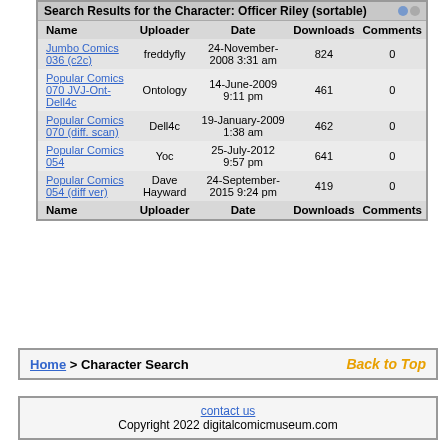| Name | Uploader | Date | Downloads | Comments |
| --- | --- | --- | --- | --- |
| Jumbo Comics 036 (c2c) | freddyfly | 24-November-2008 3:31 am | 824 | 0 |
| Popular Comics 070 JVJ-Ont-Dell4c | Ontology | 14-June-2009 9:11 pm | 461 | 0 |
| Popular Comics 070 (diff. scan) | Dell4c | 19-January-2009 1:38 am | 462 | 0 |
| Popular Comics 054 | Yoc | 25-July-2012 9:57 pm | 641 | 0 |
| Popular Comics 054 (diff ver) | Dave Hayward | 24-September-2015 9:24 pm | 419 | 0 |
Home > Character Search
Back to Top
contact us
Copyright 2022 digitalcomicmuseum.com